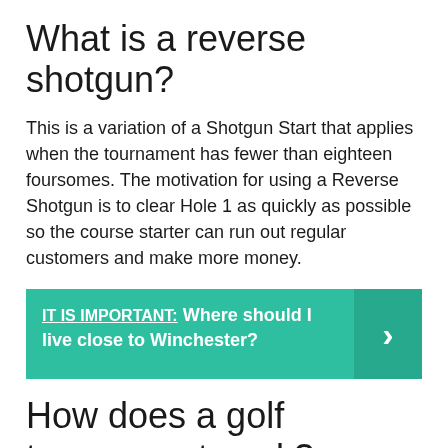What is a reverse shotgun?
This is a variation of a Shotgun Start that applies when the tournament has fewer than eighteen foursomes. The motivation for using a Reverse Shotgun is to clear Hole 1 as quickly as possible so the course starter can run out regular customers and make more money.
IT IS IMPORTANT:  Where should I live close to Winchester?
How does a golf tournament work?